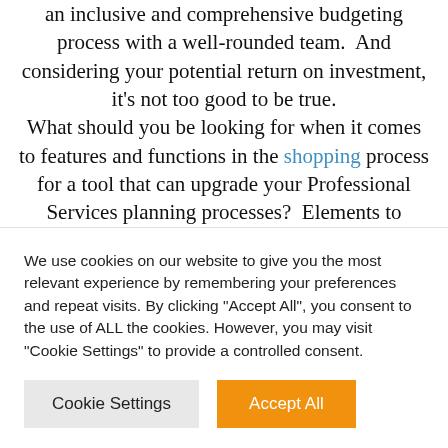conversations. Budget managers can coordinate an inclusive and comprehensive budgeting process with a well-rounded team.  And considering your potential return on investment, it's not too good to be true. What should you be looking for when it comes to features and functions in the shopping process for a tool that can upgrade your Professional Services planning processes?  Elements to consider include platform types, budgeting
We use cookies on our website to give you the most relevant experience by remembering your preferences and repeat visits. By clicking "Accept All", you consent to the use of ALL the cookies. However, you may visit "Cookie Settings" to provide a controlled consent.
Cookie Settings | Accept All